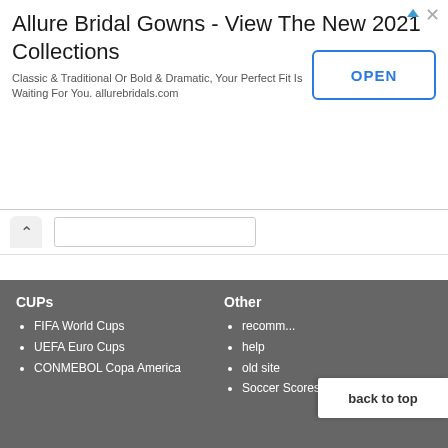[Figure (screenshot): Advertisement banner for Allure Bridal Gowns with title, subtitle and OPEN button]
[Figure (bar-chart): Goal difference in match]
CUPs
FIFA World Cups
UEFA Euro Cups
CONMEBOL Copa America
Other
recomm...
help
old site
Soccer Scores